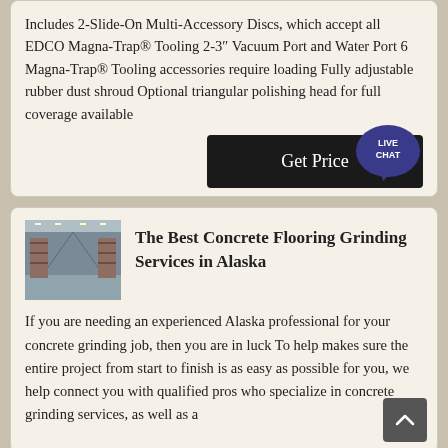Includes 2-Slide-On Multi-Accessory Discs, which accept all EDCO Magna-Trap® Tooling 2-3" Vacuum Port and Water Port 6 Magna-Trap® Tooling accessories require loading Fully adjustable rubber dust shroud Optional triangular polishing head for full coverage available
[Figure (other): Live Chat speech bubble icon with text LIVE CHAT]
Get Price
[Figure (photo): Interior photo of a large warehouse or industrial building with high ceilings and shelving/racking]
The Best Concrete Flooring Grinding Services in Alaska
If you are needing an experienced Alaska professional for your concrete grinding job, then you are in luck To help makes sure the entire project from start to finish is as easy as possible for you, we help connect you with qualified pros who specialize in concrete grinding services, as well as a